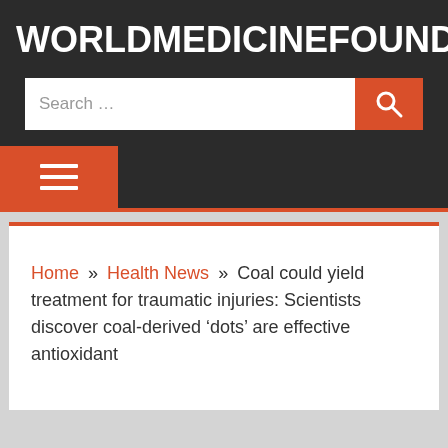WORLDMEDICINEFOUNDATION
[Figure (screenshot): Search bar with orange search button]
[Figure (screenshot): Hamburger menu button on dark navigation bar]
Home » Health News » Coal could yield treatment for traumatic injuries: Scientists discover coal-derived 'dots' are effective antioxidant